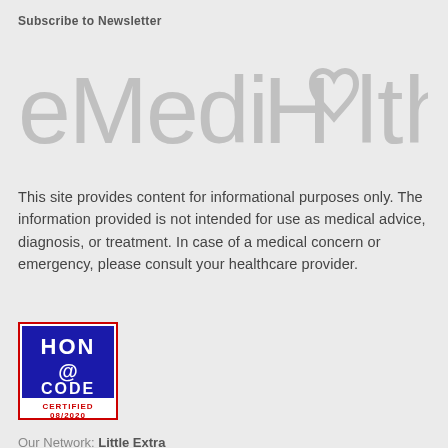Subscribe to Newsletter
[Figure (logo): eMediHealth logo in large gray stylized text with a heart graphic replacing the 'o' in 'Health']
This site provides content for informational purposes only. The information provided is not intended for use as medical advice, diagnosis, or treatment. In case of a medical concern or emergency, please consult your healthcare provider.
[Figure (logo): HON CODE CERTIFIED 08/2020 badge - a red-bordered square badge with blue background showing HON @ CODE text and CERTIFIED 08/2020 below]
Our Network: Little Extra